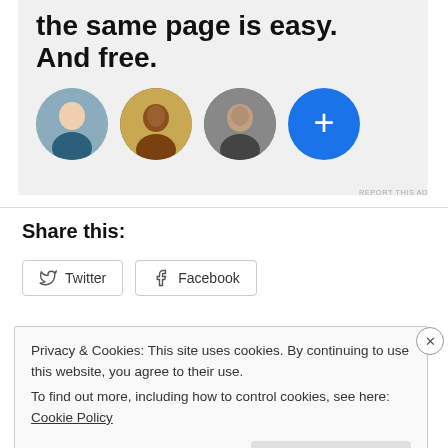[Figure (illustration): Advertisement banner with bold headline text 'the same page is easy. And free.' and a row of three circular avatar photos plus a blue circle with a white plus sign.]
REPORT THIS AD
Share this:
Twitter  Facebook (share buttons)
Privacy & Cookies: This site uses cookies. By continuing to use this website, you agree to their use.
To find out more, including how to control cookies, see here: Cookie Policy
Close and accept